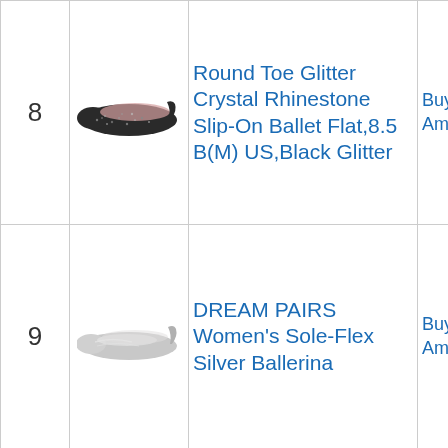| # | Image | Product | Buy |
| --- | --- | --- | --- |
| 8 | [shoe image] | Round Toe Glitter Crystal Rhinestone Slip-On Ballet Flat,8.5 B(M) US,Black Glitter | Buy on Amazon |
| 9 | [shoe image] | DREAM PAIRS Women's Sole-Flex Silver Ballerina | Buy on Amazon |